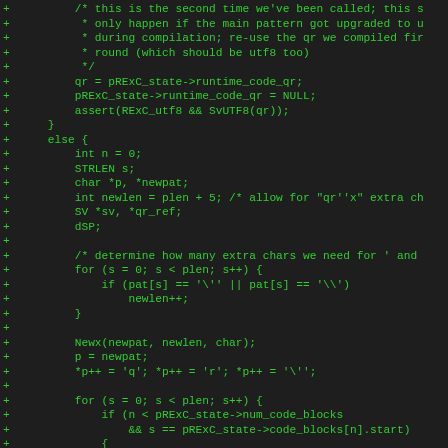[Figure (screenshot): Source code diff showing C code additions (lines marked with '+') on a dark background with green monospace text. Code involves regex compilation, pattern handling, and string operations in what appears to be a Perl internal C source file.]